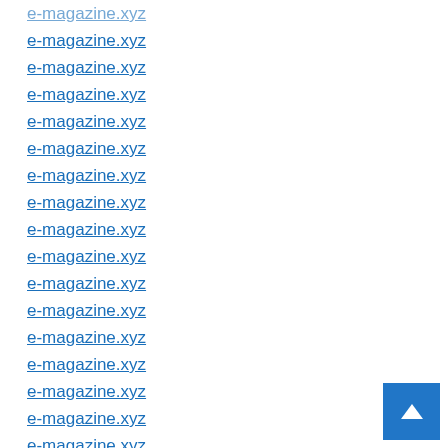e-magazine.xyz
e-magazine.xyz
e-magazine.xyz
e-magazine.xyz
e-magazine.xyz
e-magazine.xyz
e-magazine.xyz
e-magazine.xyz
e-magazine.xyz
e-magazine.xyz
e-magazine.xyz
e-magazine.xyz
e-magazine.xyz
e-magazine.xyz
e-magazine.xyz
e-magazine.xyz
e-magazine.xyz